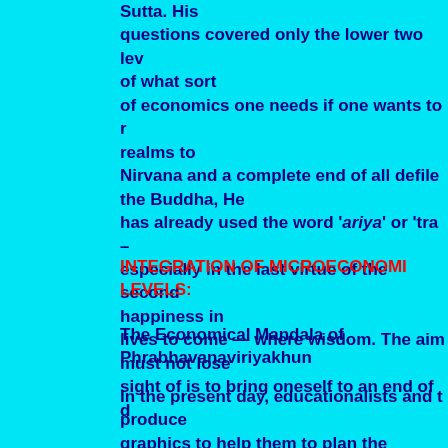Sutta. His questions covered only the lower two lev of what sort of economics one needs if one wants to r realms to Nirvana and a complete end of all defile the Buddha, He has already used the word 'ariya' or 'tra – especially in the last virtue of the second happiness in lives to come — where wisdom. The aim must not lose sight of is to bring oneself to an end of d
INTEGRATION OF MICROECONOMI LEVELS:
The Economical Mandala of Phrabhavanaviriyakhun
In the present day, educationalists and t produce graphics to help them to plan the econon However, charts